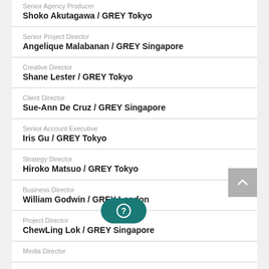Senior Agency Producer
Shoko Akutagawa / GREY Tokyo
Senior Project Director
Angelique Malabanan / GREY Singapore
Creative Director
Shane Lester / GREY Tokyo
Client Director
Sue-Ann De Cruz / GREY Singapore
Senior Account Executive
Iris Gu / GREY Tokyo
Strategy Director
Hiroko Matsuo / GREY Tokyo
Business Director
William Godwin / GREY London
Project Director
ChewLing Lok / GREY Singapore
Media Director